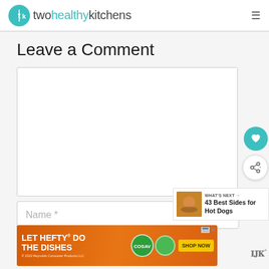twohealthykitchens
Leave a Comment
[Figure (screenshot): Empty comment textarea input box with white background and light gray border]
[Figure (screenshot): Teal circular FAB button with heart icon for saving/liking]
[Figure (screenshot): White circular FAB button with share icon]
[Figure (screenshot): What's Next promo panel with food image and text '43 Best Sides for Hot Dogs']
Name *
[Figure (screenshot): Advertisement banner: LET HEFTY DO THE DISHES - Reynolds Consumer Products with Shop Now button]